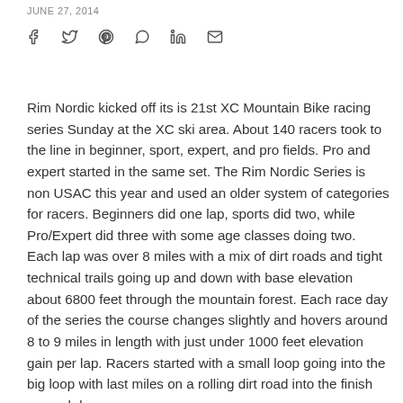JUNE 27, 2014
[Figure (other): Social sharing icons: Facebook, Twitter, Pinterest, WhatsApp, LinkedIn, Email]
Rim Nordic kicked off its is 21st XC Mountain Bike racing series Sunday at the XC ski area. About 140 racers took to the line in beginner, sport, expert, and pro fields. Pro and expert started in the same set. The Rim Nordic Series is non USAC this year and used an older system of categories for racers. Beginners did one lap, sports did two, while Pro/Expert did three with some age classes doing two. Each lap was over 8 miles with a mix of dirt roads and tight technical trails going up and down with base elevation about 6800 feet through the mountain forest. Each race day of the series the course changes slightly and hovers around 8 to 9 miles in length with just under 1000 feet elevation gain per lap. Racers started with a small loop going into the big loop with last miles on a rolling dirt road into the finish on each lap.